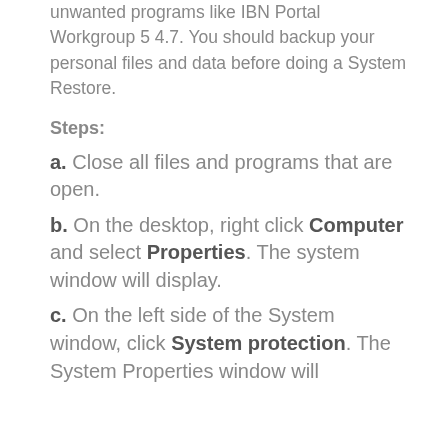unwanted programs like IBN Portal Workgroup 5 4.7. You should backup your personal files and data before doing a System Restore.
Steps:
a. Close all files and programs that are open.
b. On the desktop, right click Computer and select Properties. The system window will display.
c. On the left side of the System window, click System protection. The System Properties window will